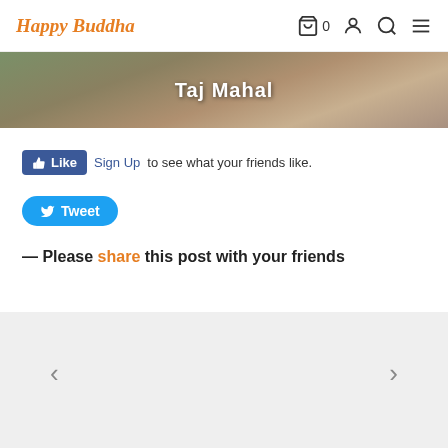Happy Buddha
[Figure (photo): Cropped photo of people at Taj Mahal with overlay text 'Taj Mahal']
[Figure (other): Facebook Like button followed by 'Sign Up to see what your friends like.']
[Figure (other): Twitter Tweet button]
— Please share this post with your friends
[Figure (other): Navigation arrows < and > on gray footer background]